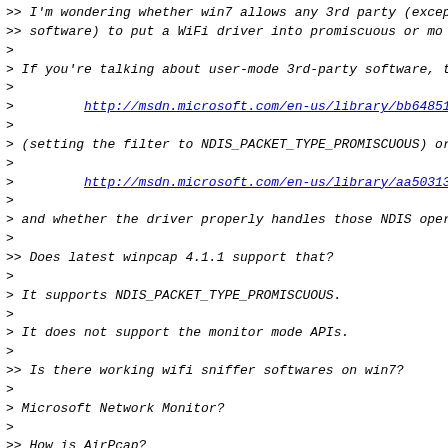>> I'm wondering whether win7 allows any 3rd party (excep
>> software) to put a WiFi driver into promiscuous or mo
>
> If you're talking about user-mode 3rd-party software, t
>
>         http://msdn.microsoft.com/en-us/library/bb64851
>
> (setting the filter to NDIS_PACKET_TYPE_PROMISCUOUS) or
>
>         http://msdn.microsoft.com/en-us/library/aa50313
>
> and whether the driver properly handles those NDIS oper
>
>> Does latest winpcap 4.1.1 support that?
>
> It supports NDIS_PACKET_TYPE_PROMISCUOUS.
>
> It does not support the monitor mode APIs.
>
>> Is there working wifi sniffer softwares on win7?
>
> Microsoft Network Monitor?
>
>> How is AirPcap?
>
> AirPcap is a device; it is *not* a normal Wi-Fi adapter
>
>> If so, anyone know how they make it pass win7's native
>
> They do so by having it not be a normal Wi-Fi adapter